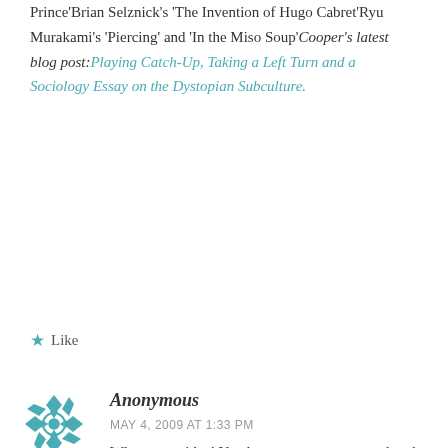Prince'Brian Selznick's 'The Invention of Hugo Cabret'Ryu Murakami's 'Piercing' and 'In the Miso Soup'Cooper's latest blog post:Playing Catch-Up, Taking a Left Turn and a Sociology Essay on the Dystopian Subculture.
★ Like
[Figure (illustration): Teal geometric snowflake/mandala avatar icon]
Anonymous
MAY 4, 2009 AT 1:33 PM
What a neat idea! You have some great ones already. I would add: Gene Yuen Lang's 'American Born Chinese'Christine Fletcher's 'Ten Cents a